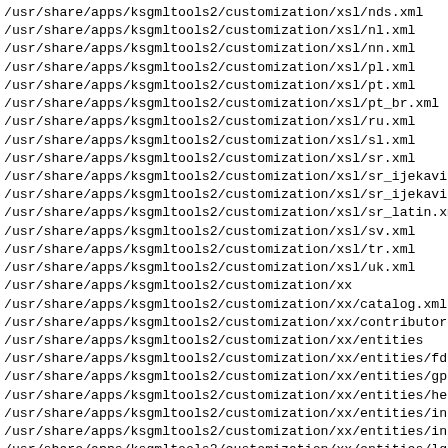/usr/share/apps/ksgmltools2/customization/xsl/nds.xml
/usr/share/apps/ksgmltools2/customization/xsl/nl.xml
/usr/share/apps/ksgmltools2/customization/xsl/nn.xml
/usr/share/apps/ksgmltools2/customization/xsl/pl.xml
/usr/share/apps/ksgmltools2/customization/xsl/pt.xml
/usr/share/apps/ksgmltools2/customization/xsl/pt_br.xml
/usr/share/apps/ksgmltools2/customization/xsl/ru.xml
/usr/share/apps/ksgmltools2/customization/xsl/sl.xml
/usr/share/apps/ksgmltools2/customization/xsl/sr.xml
/usr/share/apps/ksgmltools2/customization/xsl/sr_ijekavia
/usr/share/apps/ksgmltools2/customization/xsl/sr_ijekavia
/usr/share/apps/ksgmltools2/customization/xsl/sr_latin.xm
/usr/share/apps/ksgmltools2/customization/xsl/sv.xml
/usr/share/apps/ksgmltools2/customization/xsl/tr.xml
/usr/share/apps/ksgmltools2/customization/xsl/uk.xml
/usr/share/apps/ksgmltools2/customization/xx
/usr/share/apps/ksgmltools2/customization/xx/catalog.xml
/usr/share/apps/ksgmltools2/customization/xx/contributor
/usr/share/apps/ksgmltools2/customization/xx/entities
/usr/share/apps/ksgmltools2/customization/xx/entities/fdl
/usr/share/apps/ksgmltools2/customization/xx/entities/gpl
/usr/share/apps/ksgmltools2/customization/xx/entities/hel
/usr/share/apps/ksgmltools2/customization/xx/entities/ins
/usr/share/apps/ksgmltools2/customization/xx/entities/ins
/usr/share/apps/ksgmltools2/customization/xx/entities/lgp
/usr/share/apps/ksgmltools2/customization/xx/entities/rep
/usr/share/apps/ksgmltools2/customization/xx/entities/unc
/usr/share/apps/ksgmltools2/customization/xx/entities/unc
/usr/share/apps/ksgmltools2/customization/xx/entities/unc
/usr/share/apps/ksgmltools2/customization/xx/entities/unc